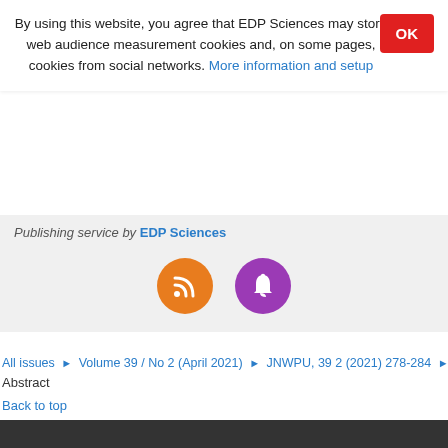By using this website, you agree that EDP Sciences may store web audience measurement cookies and, on some pages, cookies from social networks. More information and setup
Publishing service by EDP Sciences
[Figure (other): Two circular icon buttons: orange RSS feed icon and purple notification bell icon]
All issues > Volume 39 / No 2 (April 2021) > JNWPU, 39 2 (2021) 278-284 >
Abstract
Back to top
[Figure (logo): EDP Sciences logo in white on dark background]
Mentions légales    Contacts